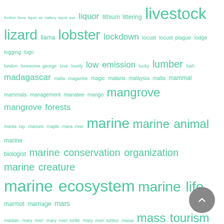[Figure (infographic): A word/tag cloud of environmental, ecological, and science-related terms rendered in teal/green color at varying font sizes indicating frequency or importance. Terms include livestock, lizard, lobster, mangrove, marine ecosystem, marine life, microplastic, mountains, mushroom, national forest, and many others.]